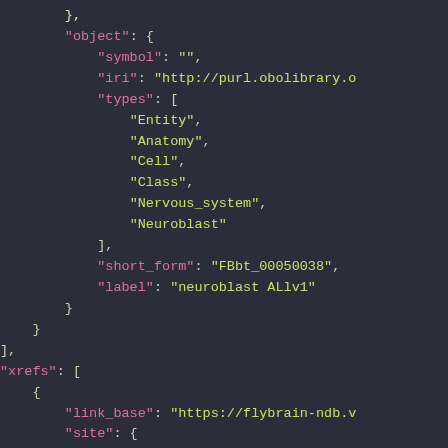JSON code snippet showing object with symbol, iri, types array (Entity, Anatomy, Cell, Class, Nervous_system, Neuroblast), short_form: FBbt_00050038, label: neuroblast ALlv1, followed by xrefs array with link_base and site fields